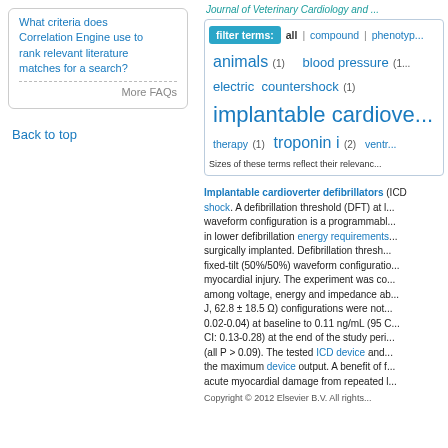What criteria does Correlation Engine use to rank relevant literature matches for a search?
More FAQs
Back to top
Journal of Veterinary Cardiology and ...
[Figure (infographic): Tag cloud filter box showing terms: animals (1), blood pressure (1), electric countershock (1), implantable cardiove... (large), therapy (1), troponin i (2), ventr... with filter terms: all | compound | phenotype]
Implantable cardioverter defibrillators (ICD ... shock. A defibrillation threshold (DFT) at l... waveform configuration is a programmable ... in lower defibrillation energy requirements ... surgically implanted. Defibrillation thresh... fixed-tilt (50%/50%) waveform configuratio... myocardial injury. The experiment was co... among voltage, energy and impedance ab... J, 62.8 ± 18.5 Ω) configurations were not... 0.02-0.04) at baseline to 0.11 ng/mL (95 C... CI: 0.13-0.28) at the end of the study peri... (all P > 0.09). The tested ICD device and... the maximum device output. A benefit of f... acute myocardial damage from repeated l...
Copyright © 2012 Elsevier B.V. All rights...